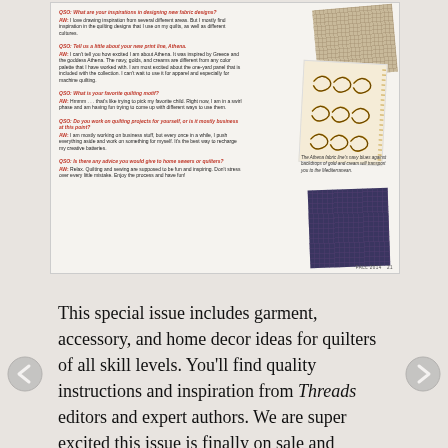[Figure (photo): Magazine page spread showing Q&A interview columns on the left with fabric swatches (beige grid, cream with gold scroll pattern, dark navy plaid) on the right. Page footer reads FALL 2014 21.]
This special issue includes garment, accessory, and home decor ideas for quilters of all skill levels. You'll find quality instructions and inspiration from Threads editors and expert authors. We are super excited this issue is finally on sale and recommend it to all of our readers, especially those used to the great content in Threads.